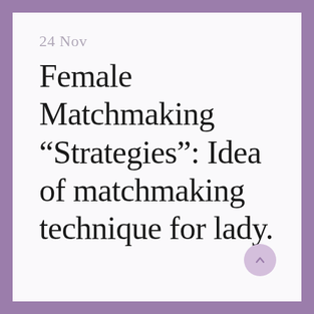24 Nov
Female Matchmaking “Strategies”: Idea of matchmaking technique for lady.